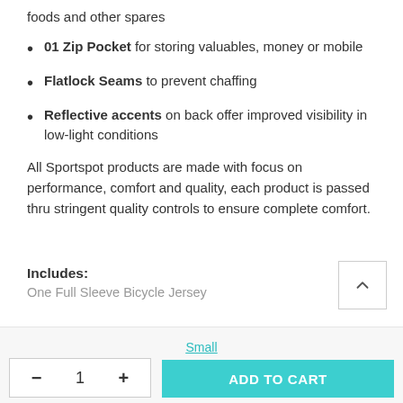foods and other spares
01 Zip Pocket for storing valuables, money or mobile
Flatlock Seams to prevent chaffing
Reflective accents on back offer improved visibility in low-light conditions
All Sportspot products are made with focus on performance, comfort and quality, each product is passed thru stringent quality controls to ensure complete comfort.
Includes:
One Full Sleeve Bicycle Jersey
Small
— 1 + ADD TO CART